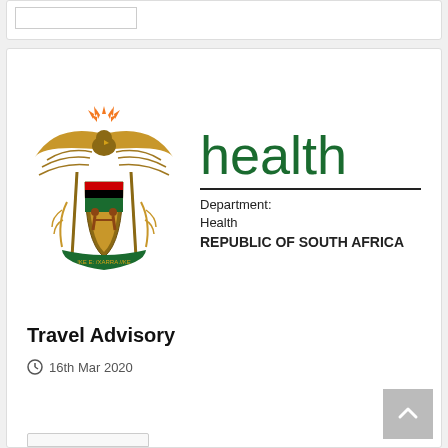[Figure (logo): Department of Health, Republic of South Africa official logo with coat of arms on the left and 'health / Department: Health / REPUBLIC OF SOUTH AFRICA' text on the right]
Travel Advisory
16th Mar 2020